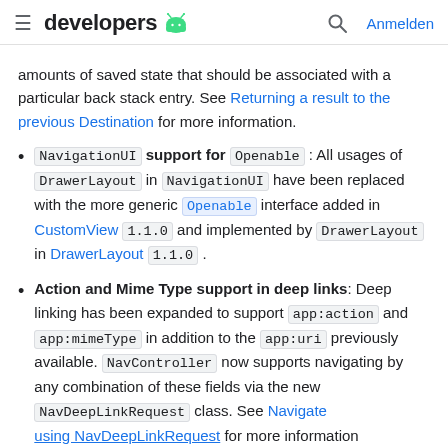developers [android logo] [search] Anmelden
amounts of saved state that should be associated with a particular back stack entry. See Returning a result to the previous Destination for more information.
NavigationUI support for Openable: All usages of DrawerLayout in NavigationUI have been replaced with the more generic Openable interface added in CustomView 1.1.0 and implemented by DrawerLayout in DrawerLayout 1.1.0.
Action and Mime Type support in deep links: Deep linking has been expanded to support app:action and app:mimeType in addition to the app:uri previously available. NavController now supports navigating by any combination of these fields via the new NavDeepLinkRequest class. See Navigate using NavDeepLinkRequest for more information